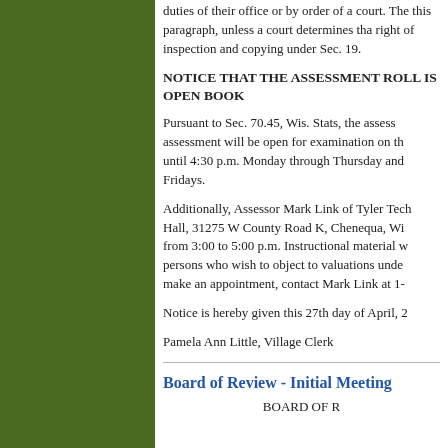duties of their office or by order of a court. The this paragraph, unless a court determines tha right of inspection and copying under Sec. 19.
NOTICE THAT THE ASSESSMENT ROLL IS OPEN BOOK
Pursuant to Sec. 70.45, Wis. Stats, the assess assessment will be open for examination on th until 4:30 p.m. Monday through Thursday and Fridays.
Additionally, Assessor Mark Link of Tyler Tech Hall, 31275 W County Road K, Chenequa, Wi from 3:00 to 5:00 p.m. Instructional material w persons who wish to object to valuations unde make an appointment, contact Mark Link at 1-
Notice is hereby given this 27th day of April, 2
Pamela Ann Little, Village Clerk
Board of Review - Initial Meeting
BOARD OF R